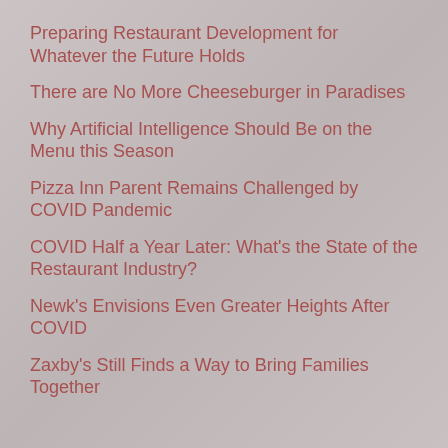Preparing Restaurant Development for Whatever the Future Holds
There are No More Cheeseburger in Paradises
Why Artificial Intelligence Should Be on the Menu this Season
Pizza Inn Parent Remains Challenged by COVID Pandemic
COVID Half a Year Later: What's the State of the Restaurant Industry?
Newk's Envisions Even Greater Heights After COVID
Zaxby's Still Finds a Way to Bring Families Together